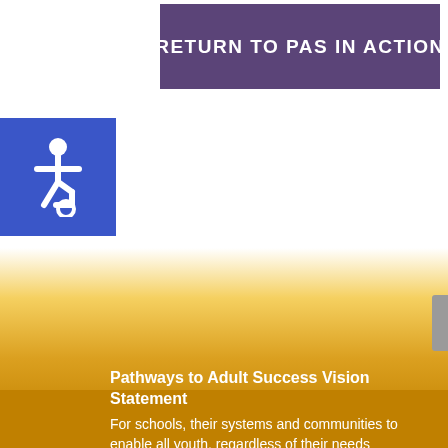RETURN TO PAS IN ACTION
[Figure (illustration): Blue square with white wheelchair accessibility icon (ISA symbol)]
[Figure (illustration): Gradient background from white to gold/amber color]
Pathways to Adult Success Vision Statement
For schools, their systems and communities to enable all youth, regardless of their needs